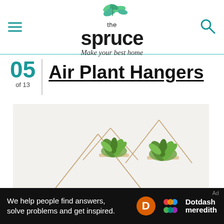the spruce — Make your best home
05 of 13 | Air Plant Hangers
[Figure (photo): Two triangular copper wire air plant hangers mounted on a white wall, each with a small wood base holding a green air plant (tillandsia). A third larger hanger is partially visible below.]
We help people find answers, solve problems and get inspired. Dotdash meredith